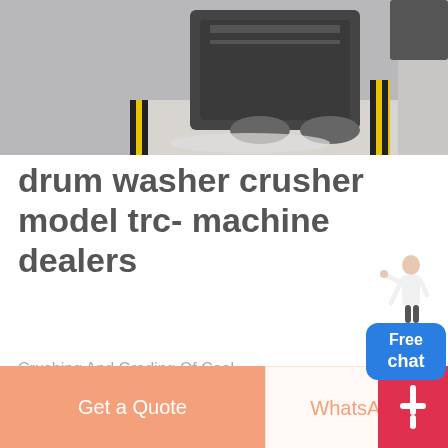[Figure (photo): Industrial drum washer crusher machine in a factory setting with yellow and black safety markings on the floor.]
drum washer crusher model trc- machine dealers
Crushing And Grading Of Coal
russian quarry machines for granite Mining Crusher drum washer crusher model trc machine dealers in pakistanrussian quarry machines for granite Home russian.
MORE
Get a Quote
WhatsApp